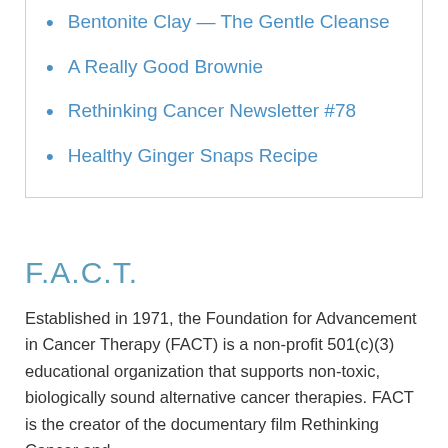Bentonite Clay — The Gentle Cleanse
A Really Good Brownie
Rethinking Cancer Newsletter #78
Healthy Ginger Snaps Recipe
F.A.C.T.
Established in 1971, the Foundation for Advancement in Cancer Therapy (FACT) is a non-profit 501(c)(3) educational organization that supports non-toxic, biologically sound alternative cancer therapies. FACT is the creator of the documentary film Rethinking Cancer and